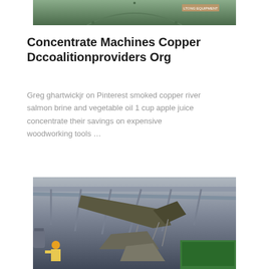[Figure (photo): Top portion of a green industrial copper concentrate machine, viewed from below, with a label on upper right]
Concentrate Machines Copper Dccoalitionproviders Org
Greg ghartwickjr on Pinterest smoked copper river salmon brine and vegetable oil 1 cup apple juice concentrate their savings on expensive woodworking tools …
[Figure (photo): Industrial factory interior showing a large crane or heavy equipment with a worker in a yellow hard hat visible at lower left, green machinery at lower right]